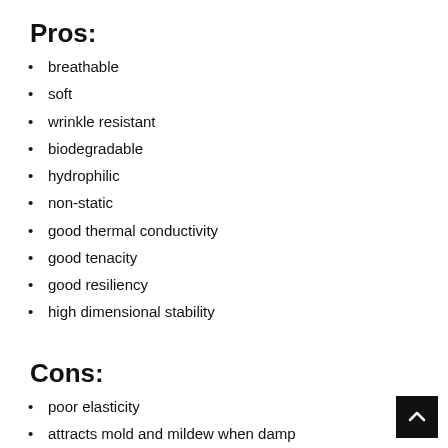Pros:
breathable
soft
wrinkle resistant
biodegradable
hydrophilic
non-static
good thermal conductivity
good tenacity
good resiliency
high dimensional stability
Cons:
poor elasticity
attracts mold and mildew when damp